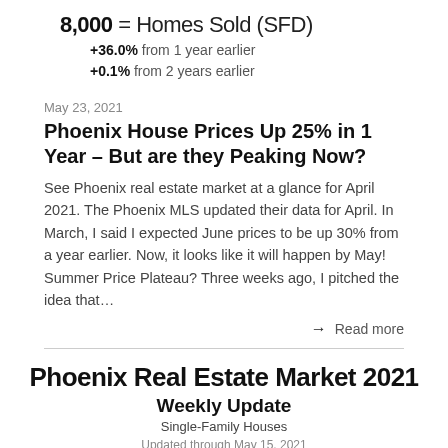8,000 = Homes Sold (SFD)
+36.0% from 1 year earlier
+0.1% from 2 years earlier
May 23, 2021
Phoenix House Prices Up 25% in 1 Year – But are they Peaking Now?
See Phoenix real estate market at a glance for April 2021. The Phoenix MLS updated their data for April. In March, I said I expected June prices to be up 30% from a year earlier. Now, it looks like it will happen by May! Summer Price Plateau? Three weeks ago, I pitched the idea that…
→ Read more
Phoenix Real Estate Market 2021 Weekly Update
Single-Family Houses
Updated through May 15, 2021